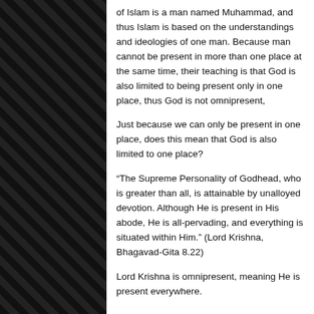of Islam is a man named Muhammad, and thus Islam is based on the understandings and ideologies of one man. Because man cannot be present in more than one place at the same time, their teaching is that God is also limited to being present only in one place, thus God is not omnipresent,
Just because we can only be present in one place, does this mean that God is also limited to one place?
“The Supreme Personality of Godhead, who is greater than all, is attainable by unalloyed devotion. Although He is present in His abode, He is all-pervading, and everything is situated within Him.” (Lord Krishna, Bhagavad-Gita 8.22)
Lord Krishna is omnipresent, meaning He is present everywhere.